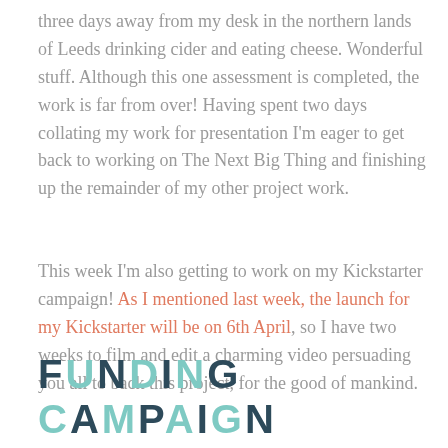three days away from my desk in the northern lands of Leeds drinking cider and eating cheese. Wonderful stuff. Although this one assessment is completed, the work is far from over! Having spent two days collating my work for presentation I'm eager to get back to working on The Next Big Thing and finishing up the remainder of my other project work.
This week I'm also getting to work on my Kickstarter campaign! As I mentioned last week, the launch for my Kickstarter will be on 6th April, so I have two weeks to film and edit a charming video persuading you all to back this project, for the good of mankind.
FUNDING CAMPAIGN